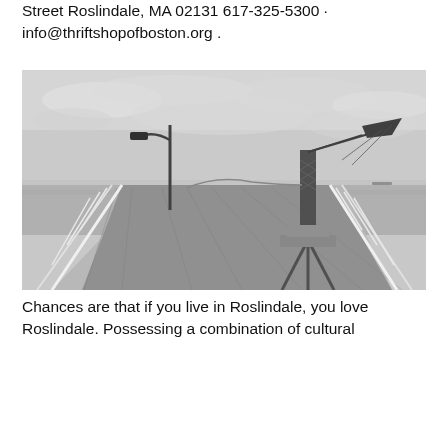Street Roslindale, MA 02131 617-325-5300 · info@thriftshopofboston.org .
[Figure (photo): Black and white photograph of a long pier or boardwalk extending toward the horizon over calm water. A street lamp pole is on the left side and a tall decorative weathervane or sculpture structure is on the right. Overcast sky with clouds above.]
Chances are that if you live in Roslindale, you love Roslindale. Possessing a combination of cultural